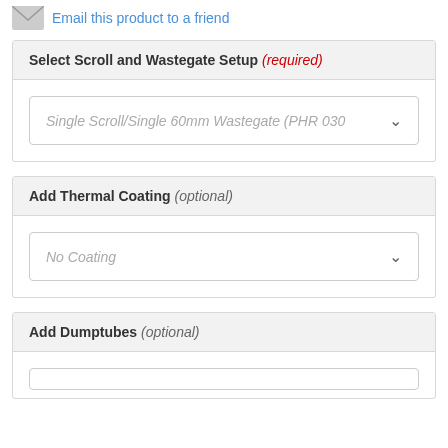Email this product to a friend
Select Scroll and Wastegate Setup (required)
Single Scroll/Single 60mm Wastegate (PHR 030
Add Thermal Coating (optional)
No Coating
Add Dumptubes (optional)